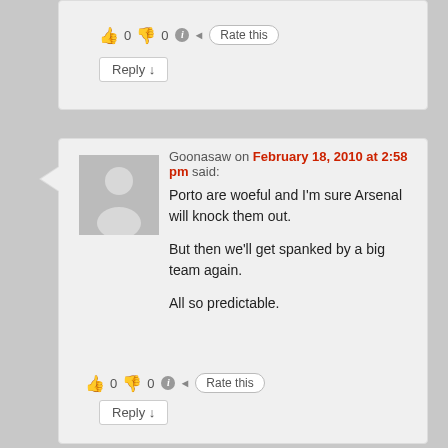👍 0 👎 0 ℹ Rate this
Reply ↓
[Figure (photo): Default user avatar silhouette on grey background]
Goonasaw on February 18, 2010 at 2:58 pm said:
Porto are woeful and I'm sure Arsenal will knock them out.

But then we'll get spanked by a big team again.

All so predictable.
👍 0 👎 0 ℹ Rate this
Reply ↓